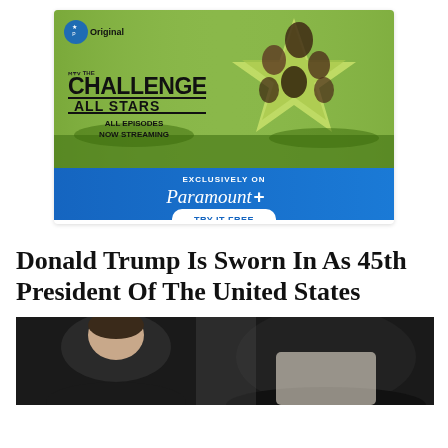[Figure (advertisement): Paramount+ advertisement for 'The Challenge All Stars' on MTV. Green background with a large star graphic and cast members. Text reads: 'Paramount Original', 'MTV THE CHALLENGE ALL STARS', 'ALL EPISODES NOW STREAMING'. Blue bottom section with 'EXCLUSIVELY ON Paramount+ TRY IT FREE' button.]
Donald Trump Is Sworn In As 45th President Of The United States
[Figure (photo): Partial photo showing people in dark formal attire, cropped at bottom of page.]